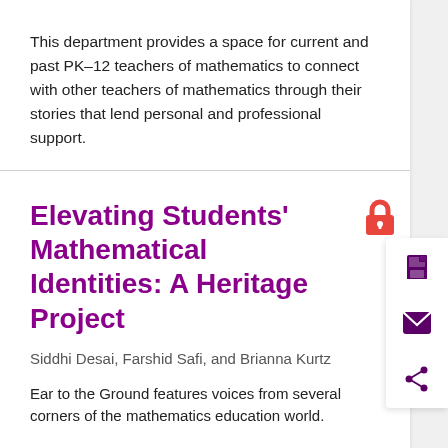This department provides a space for current and past PK–12 teachers of mathematics to connect with other teachers of mathematics through their stories that lend personal and professional support.
Elevating Students' Mathematical Identities: A Heritage Project
Siddhi Desai, Farshid Safi, and Brianna Kurtz
Ear to the Ground features voices from several corners of the mathematics education world.